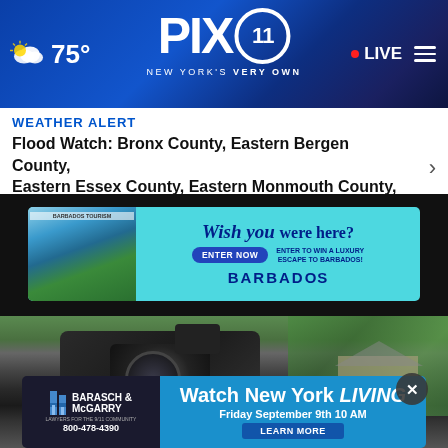[Figure (screenshot): PIX11 news website header with weather (cloud icon, 75°), PIX11 logo with circle-11, tagline NEW YORK'S VERY OWN, LIVE badge with red dot, and hamburger menu]
WEATHER ALERT
Flood Watch: Bronx County, Eastern Bergen County, Eastern Essex County, Eastern Monmouth County, ...
[Figure (screenshot): Barbados tourism advertisement: teal background, postcard image of coastline, text 'Wish you were here?', 'ENTER NOW' button, 'ENTER TO WIN A LUXURY ESCAPE TO BARBADOS!', BARBADOS logo]
[Figure (photo): Blurred close-up of a TV news camera being operated outdoors, with green trees and house in background]
[Figure (screenshot): Barasch & McGarry advertisement: dark left panel with logo and 800-478-4390, blue right panel with 'Watch New York LIVING Friday September 9th 10 AM' and LEARN MORE button]